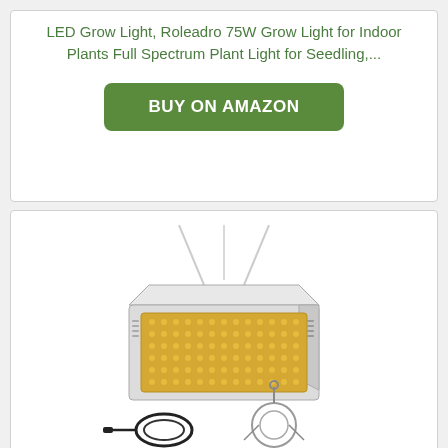LED Grow Light, Roleadro 75W Grow Light for Indoor Plants Full Spectrum Plant Light for Seedling,...
BUY ON AMAZON
[Figure (photo): Product photo of an LED grow light panel (white rectangular housing with warm yellow LEDs, hanging chains) and accessories (power cord, hanging kit) below it.]
LED Grow Light, Roleadro 1500W Grow Light 3500k